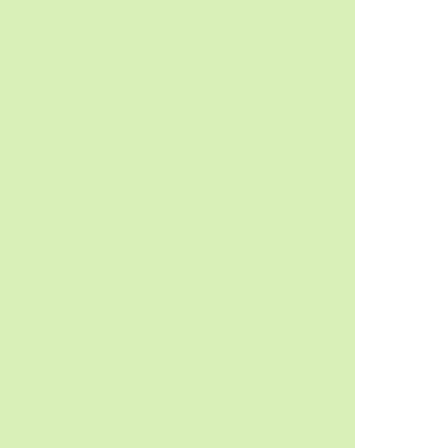Bruce D. Porter — Throughout the history of the U... has been the primary impetus and development of the centra... been the lever by which presid... national officials have bolstere... state in the face of tenacious p...
Ezra Pound — Wars in old times were made t... modern implement of imposing...
General Colin Powell — Over the years, the United Sta... many of its fine young men an... great peril to fight for freedom b... borders. The only amount of la... asked for in return is enough to... did not return.
General Colin Powell — So our record of living our valu... values be an inspiration to othe... And I don't think I have anythin... of or apologize for with respect... has done for the world. We have gone forth from our s... over the last hundred years an... as recently as the last year in A... put wonderful young men and... many of whom have lost their l... asked for nothing except enou... them in, and otherwise we hav... ... to live our own lives in peac...
General Colin Powell — One of the fondest expressions... we can't be the world's police...